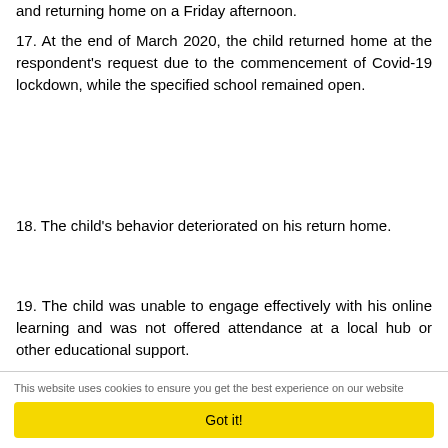and returning home on a Friday afternoon.
17. At the end of March 2020, the child returned home at the respondent's request due to the commencement of Covid-19 lockdown, while the specified school remained open.
18. The child's behavior deteriorated on his return home.
19. The child was unable to engage effectively with his online learning and was not offered attendance at a local hub or other educational support.
This website uses cookies to ensure you get the best experience on our website